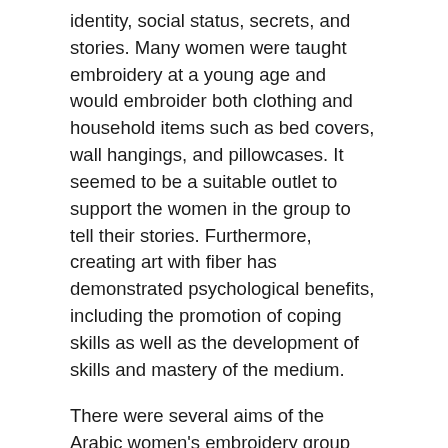identity, social status, secrets, and stories. Many women were taught embroidery at a young age and would embroider both clothing and household items such as bed covers, wall hangings, and pillowcases. It seemed to be a suitable outlet to support the women in the group to tell their stories. Furthermore, creating art with fiber has demonstrated psychological benefits, including the promotion of coping skills as well as the development of skills and mastery of the medium.
There were several aims of the Arabic women's embroidery group including: helping participants build a sense of community and connection to one another; to foster a sense of connection to “home” through their embroidered artwork; encourage self-expression through textile making by telling visual stories about their lives and offering the chance for the participants to use embroidery to share their stories with people living in Canada.
The program is trauma informed, meaning that facilitators understand, recognize and respond to trauma in the group. Because we are working with refugees, we recognize that anyone in the group may have experienced trauma. We recognize participant disclosures may require the support of a